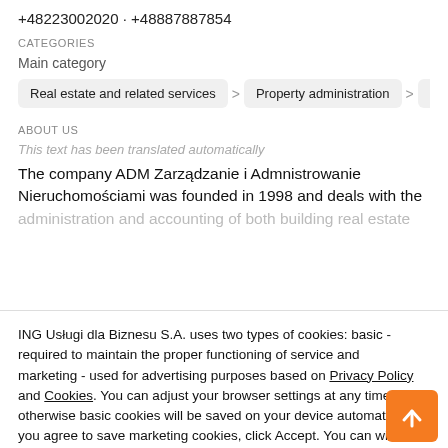+48223002020 · +48887887854
CATEGORIES
Main category
Real estate and related services > Property administration > Offic…
ABOUT US
This text has been translated automatically
The company ADM Zarządzanie i Admnistrowanie Nieruchomościami was founded in 1998 and deals with the administration and accounting of both building real estate…
ING Usługi dla Biznesu S.A. uses two types of cookies: basic - required to maintain the proper functioning of service and marketing - used for advertising purposes based on Privacy Policy and Cookies. You can adjust your browser settings at any time, otherwise basic cookies will be saved on your device automatically. If you agree to save marketing cookies, click Accept. You can withdraw consent at any time in your browser settings.
Accept
Close